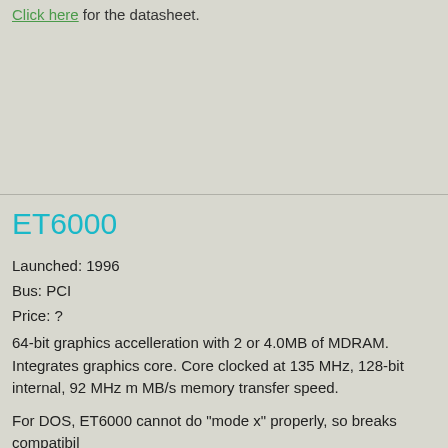Click here for the datasheet.
ET6000
Launched: 1996
Bus: PCI
Price: ?
64-bit graphics accelleration with 2 or 4.0MB of MDRAM. Integrates graphics core. Core clocked at 135 MHz, 128-bit internal, 92 MHz m MB/s memory transfer speed.
For DOS, ET6000 cannot do "mode x" properly, so breaks compatibil